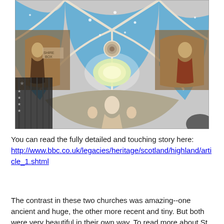[Figure (photo): Interior photograph of a decorated church ceiling with Gothic arched vaults painted in blue with gold stars, ornate religious frescoes including angels and religious figures, and intricate white plasterwork. A decorative metal screen or gate is visible at the lower left. The ceiling has a central medallion with a glowing orb motif.]
You can read the fully detailed and touching story here: http://www.bbc.co.uk/legacies/heritage/scotland/highland/article_1.shtml
The contrast in these two churches was amazing--one ancient and huge, the other more recent and tiny. But both were very beautiful in their own way. To read more about St...